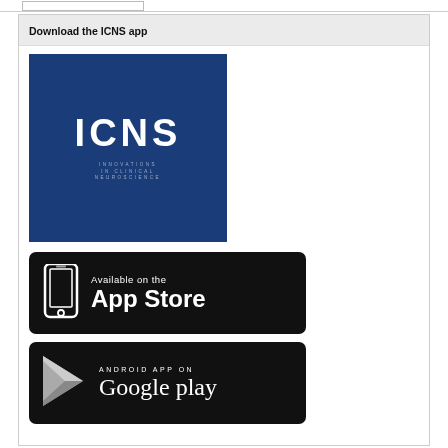Download the ICNS app
[Figure (logo): ICNS (Innovations in Clinical Neuroscience) blue square logo with large white letters ICNS and small subtitle text below]
[Figure (logo): Available on the App Store badge — black rounded rectangle with white smartphone icon and white text 'Available on the App Store']
[Figure (logo): Android App on Google Play badge — black rounded rectangle with grey play button triangle and white text 'ANDROID APP ON Google play']